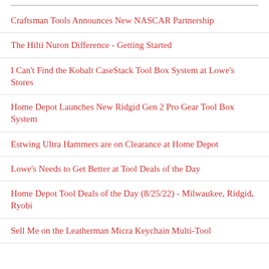Craftsman Tools Announces New NASCAR Partnership
The Hilti Nuron Difference - Getting Started
I Can't Find the Kobalt CaseStack Tool Box System at Lowe's Stores
Home Depot Launches New Ridgid Gen 2 Pro Gear Tool Box System
Estwing Ultra Hammers are on Clearance at Home Depot
Lowe's Needs to Get Better at Tool Deals of the Day
Home Depot Tool Deals of the Day (8/25/22) - Milwaukee, Ridgid, Ryobi
Sell Me on the Leatherman Micra Keychain Multi-Tool